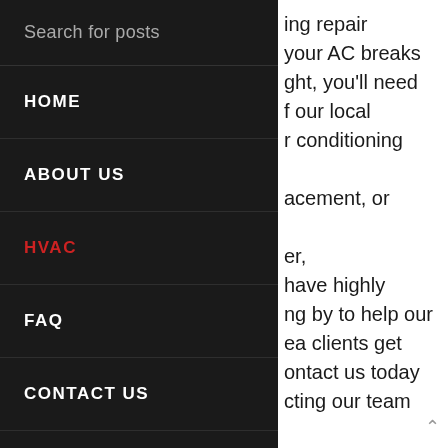Search for posts
HOME
ABOUT US
HVAC
FAQ
CONTACT US
BLOG
♡ WISHLIST
⇄ COMPARE
ing repair your AC breaks ght, you'll need f our local r conditioning acement, or er, have highly ng by to help our ea clients get ontact us today cting our team